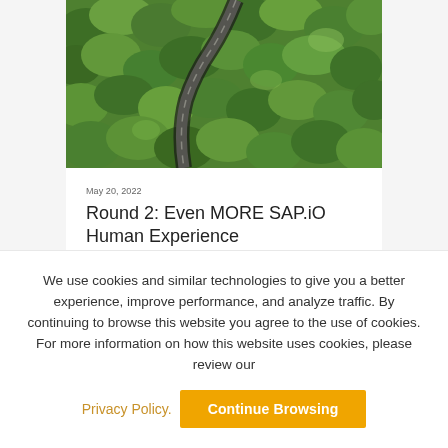[Figure (photo): Aerial view of a winding road through a dense green forest, viewed from above.]
May 20, 2022
Round 2: Even MORE SAP.iO Human Experience
We use cookies and similar technologies to give you a better experience, improve performance, and analyze traffic. By continuing to browse this website you agree to the use of cookies. For more information on how this website uses cookies, please review our
Privacy Policy.
Continue Browsing